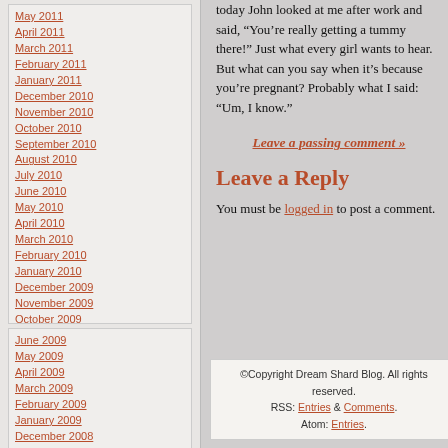May 2011
April 2011
March 2011
February 2011
January 2011
December 2010
November 2010
October 2010
September 2010
August 2010
July 2010
June 2010
May 2010
April 2010
March 2010
February 2010
January 2010
December 2009
November 2009
October 2009
September 2009
August 2009
July 2009
June 2009
May 2009
April 2009
March 2009
February 2009
January 2009
December 2008
November 2008
October 2008
September 2008
August 2008
July 2008
June 2008
May 2008
today John looked at me after work and said, “You’re really getting a tummy there!” Just what every girl wants to hear. But what can you say when it’s because you’re pregnant? Probably what I said: “Um, I know.”
Leave a passing comment »
Leave a Reply
You must be logged in to post a comment.
©Copyright Dream Shard Blog. All rights reserved. RSS: Entries & Comments. Atom: Entries.